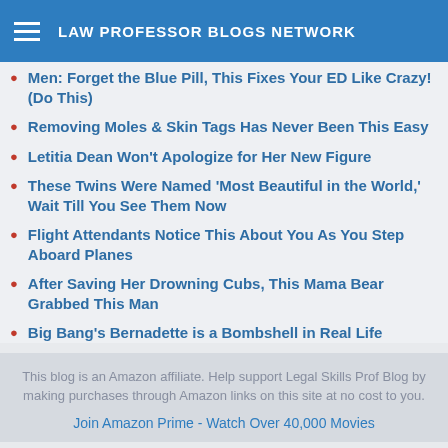LAW PROFESSOR BLOGS NETWORK
Men: Forget the Blue Pill, This Fixes Your ED Like Crazy! (Do This)
Removing Moles & Skin Tags Has Never Been This Easy
Letitia Dean Won't Apologize for Her New Figure
These Twins Were Named 'Most Beautiful in the World,' Wait Till You See Them Now
Flight Attendants Notice This About You As You Step Aboard Planes
After Saving Her Drowning Cubs, This Mama Bear Grabbed This Man
Big Bang's Bernadette is a Bombshell in Real Life
This blog is an Amazon affiliate. Help support Legal Skills Prof Blog by making purchases through Amazon links on this site at no cost to you.
Join Amazon Prime - Watch Over 40,000 Movies